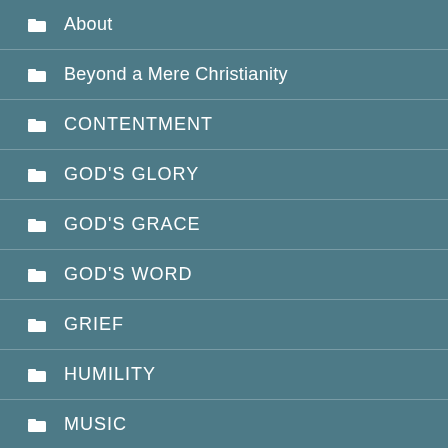About
Beyond a Mere Christianity
CONTENTMENT
GOD'S GLORY
GOD'S GRACE
GOD'S WORD
GRIEF
HUMILITY
MUSIC